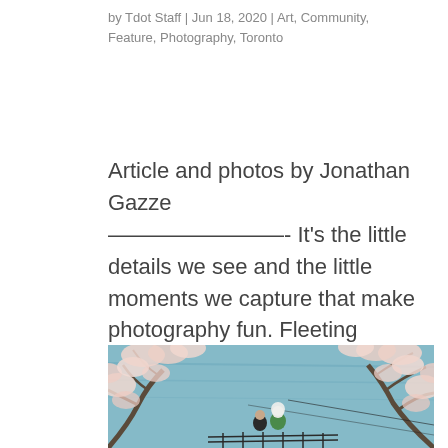by Tdot Staff | Jun 18, 2020 | Art, Community, Feature, Photography, Toronto
Article and photos by Jonathan Gazze ————————- It's the little details we see and the little moments we capture that make photography fun. Fleeting moments we may never experience again. The challenge during these unprecedented...
[Figure (photo): Outdoor photograph showing cherry blossom trees in full bloom framing a view of a body of water (lake or river) with a blue-grey surface. Two people are visible in the lower center, standing near a railing, one wearing a white hijab and green jacket.]